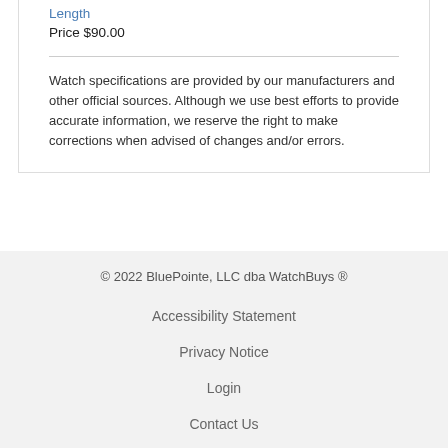Length
Price $90.00
Watch specifications are provided by our manufacturers and other official sources. Although we use best efforts to provide accurate information, we reserve the right to make corrections when advised of changes and/or errors.
© 2022 BluePointe, LLC dba WatchBuys ®
Accessibility Statement
Privacy Notice
Login
Contact Us